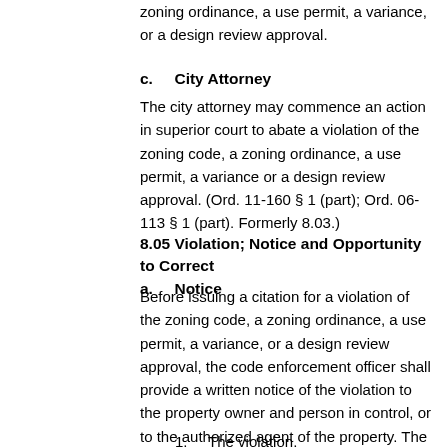zoning ordinance, a use permit, a variance, or a design review approval.
c.    City Attorney
The city attorney may commence an action in superior court to abate a violation of the zoning code, a zoning ordinance, a use permit, a variance or a design review approval. (Ord. 11-160 § 1 (part); Ord. 06-113 § 1 (part). Formerly 8.03.)
8.05 Violation; Notice and Opportunity to Correct
a.    Notice
Before issuing a citation for a violation of the zoning code, a zoning ordinance, a use permit, a variance, or a design review approval, the code enforcement officer shall provide a written notice of the violation to the property owner and person in control, or to the authorized agent of the property. The notice shall set forth:
1.    The violation.